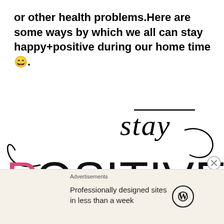or other health problems.Here are some ways by which we all can stay happy+positive during our home time 😄.
[Figure (illustration): Decorative cursive and block lettering reading 'stay POSITIVE' in black ink with the letter P in pink.]
Advertisements
Professionally designed sites in less than a week